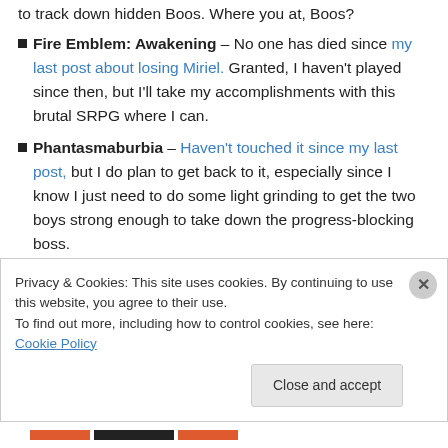Fire Emblem: Awakening – No one has died since my last post about losing Miriel. Granted, I haven't played since then, but I'll take my accomplishments with this brutal SRPG where I can.
Phantasmaburbia – Haven't touched it since my last post, but I do plan to get back to it, especially since I know I just need to do some light grinding to get the two boys strong enough to take down the progress-blocking boss.
Kingdom Rush – I play this during my lunchbreak as I
Privacy & Cookies: This site uses cookies. By continuing to use this website, you agree to their use.
To find out more, including how to control cookies, see here: Cookie Policy